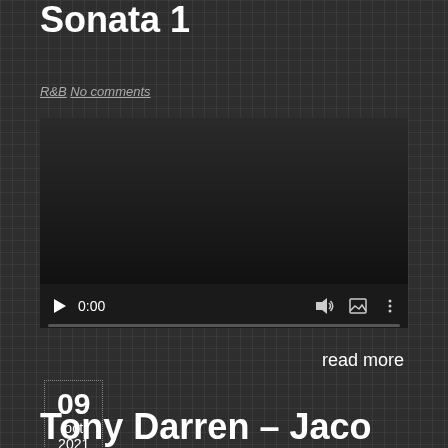Sonata 1
R&B  No comments
[Figure (other): Embedded video player with dark background, play button, 0:00 timestamp, volume, fullscreen and more controls, and a progress bar.]
read more
09
oct
2021
Tony Darren – Jaco